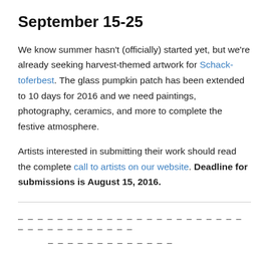September 15-25
We know summer hasn’t (officially) started yet, but we’re already seeking harvest-themed artwork for Schack-toferbest. The glass pumpkin patch has been extended to 10 days for 2016 and we need paintings, photography, ceramics, and more to complete the festive atmosphere.
Artists interested in submitting their work should read the complete call to artists on our website. Deadline for submissions is August 15, 2016.